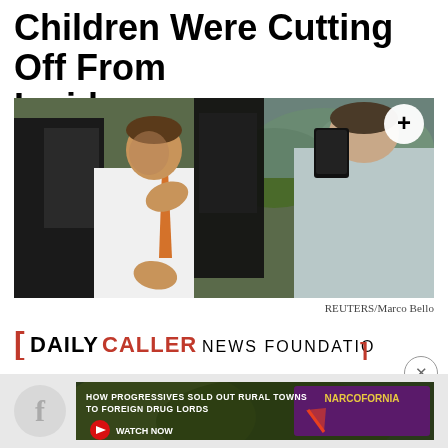Children Were Cutting Off From Inside
[Figure (photo): Two men near a black SUV, one in a white shirt and orange tie gesturing with both hands, the other facing away holding a phone or device up]
REUTERS/Marco Bello
[Figure (logo): Daily Caller News Foundation logo with red bracket accents]
[Figure (other): Advertisement banner: HOW PROGRESSIVES SOLD OUT RURAL TOWNS TO FOREIGN DRUG LORDS - NARCOFORNIA - WATCH NOW]